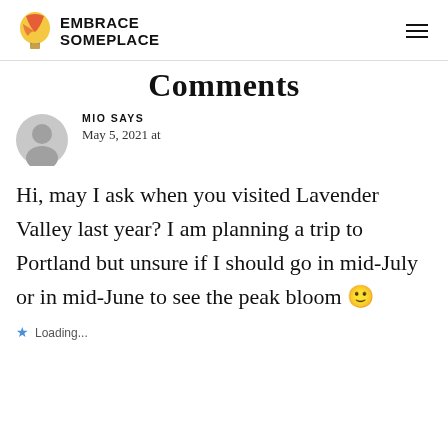EMBRACE SOMEPLACE
Comments
MIO SAYS
May 5, 2021 at
Hi, may I ask when you visited Lavender Valley last year? I am planning a trip to Portland but unsure if I should go in mid-July or in mid-June to see the peak bloom 🙂
Loading...